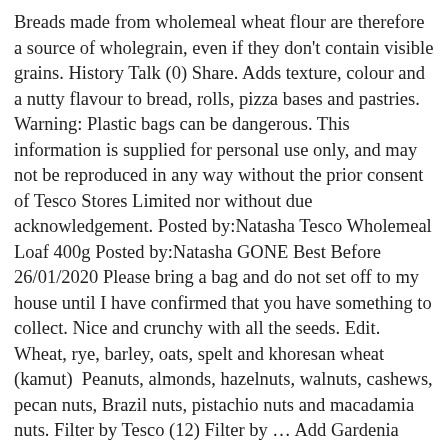Breads made from wholemeal wheat flour are therefore a source of wholegrain, even if they don't contain visible grains. History Talk (0) Share. Adds texture, colour and a nutty flavour to bread, rolls, pizza bases and pastries. Warning: Plastic bags can be dangerous. This information is supplied for personal use only, and may not be reproduced in any way without the prior consent of Tesco Stores Limited nor without due acknowledgement. Posted by:Natasha Tesco Wholemeal Loaf 400g Posted by:Natasha GONE Best Before 26/01/2020 Please bring a bag and do not set off to my house until I have confirmed that you have something to collect. Nice and crunchy with all the seeds. Edit.  Wheat, rye, barley, oats, spelt and khoresan wheat (kamut)  Peanuts, almonds, hazelnuts, walnuts, cashews, pecan nuts, Brazil nuts, pistachio nuts and macadamia nuts. Filter by Tesco (12) Filter by … Add Gardenia Sommerset Cottage Multi Grain & Seeds 300g Add add Gardenia Sommerset Cottage Multi Grain & Seeds 300g to trolley. of the reference intake*Typical values per 100g: Energy 1071kJ / 254kcal. Asda, Sainsbury's